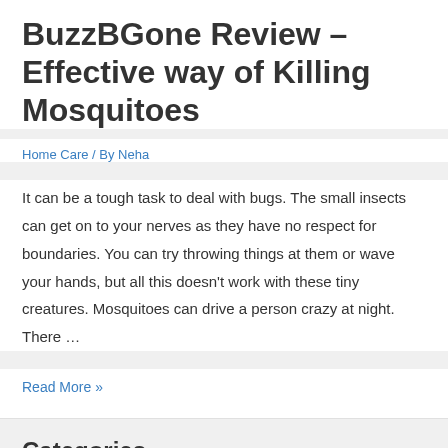BuzzBGone Review – Effective way of Killing Mosquitoes
Home Care / By Neha
It can be a tough task to deal with bugs. The small insects can get on to your nerves as they have no respect for boundaries. You can try throwing things at them or wave your hands, but all this doesn't work with these tiny creatures. Mosquitoes can drive a person crazy at night. There …
Read More »
Categories
Beauty (8)
Blog (3)